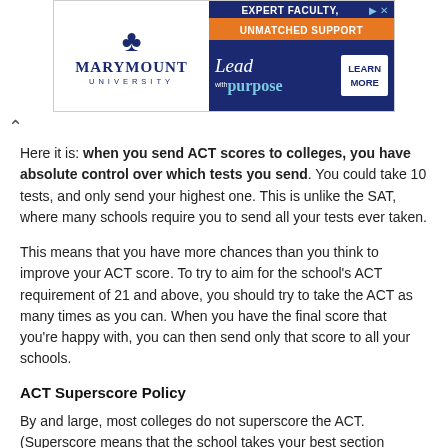[Figure (illustration): Marymount University advertisement banner with fleur-de-lis logo, 'EXPERT FACULTY, UNMATCHED SUPPORT' text on orange bar, 'Lead with purpose' tagline, and 'LEARN MORE' button on navy background.]
Here it is: when you send ACT scores to colleges, you have absolute control over which tests you send. You could take 10 tests, and only send your highest one. This is unlike the SAT, where many schools require you to send all your tests ever taken.
This means that you have more chances than you think to improve your ACT score. To try to aim for the school's ACT requirement of 21 and above, you should try to take the ACT as many times as you can. When you have the final score that you're happy with, you can then send only that score to all your schools.
ACT Superscore Policy
By and large, most colleges do not superscore the ACT. (Superscore means that the school takes your best section scores from all the test dates you submit, and then combines them into the best possible composite score). Thus, most schools will just take your highest ACT score from a single sitting.